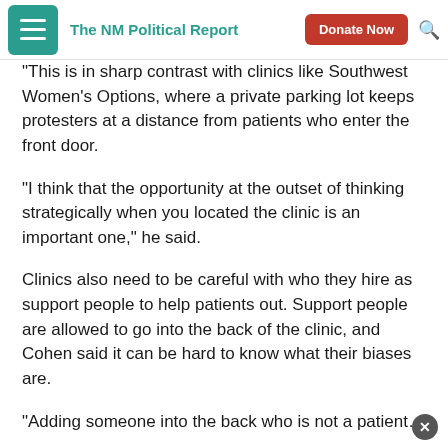The NM Political Report
“This is in sharp contrast with clinics like Southwest Women’s Options, where a private parking lot keeps protesters at a distance from patients who enter the front door.
“I think that the opportunity at the outset of thinking strategically when you located the clinic is an important one,” he said.
Clinics also need to be careful with who they hire as support people to help patients out. Support people are allowed to go into the back of the clinic, and Cohen said it can be hard to know what their biases are.
“Adding someone into the back who is not a patient…